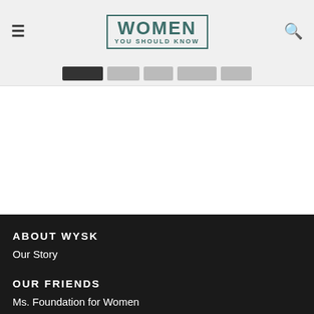WOMEN YOU SHOULD KNOW
ABOUT WYSK
Our Story
OUR FRIENDS
Ms. Foundation for Women